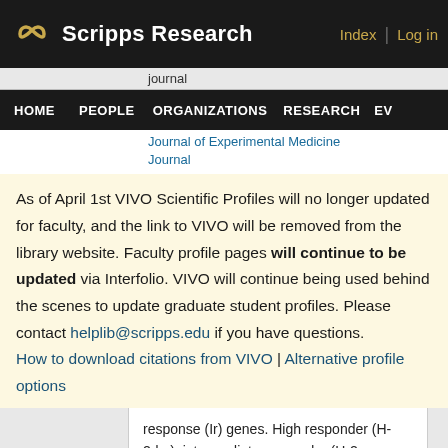Scripps Research | Index | Log in
journal
HOME   PEOPLE   ORGANIZATIONS   RESEARCH   EV
Journal of Experimental Medicine Journal
As of April 1st VIVO Scientific Profiles will no longer updated for faculty, and the link to VIVO will be removed from the library website. Faculty profile pages will continue to be updated via Interfolio. VIVO will continue being used behind the scenes to update graduate student profiles. Please contact helplib@scripps.edu if you have questions.
How to download citations from VIVO | Alternative profile options
response (Ir) genes. High responder (H-2d,q), intermediate responder (H-2a greater than b greater than k) and nonresponder (H-2f,s) haplotypes have been identified (8, 9). The kinetics and specificity of in vivo antibody production after LPS-A immunization